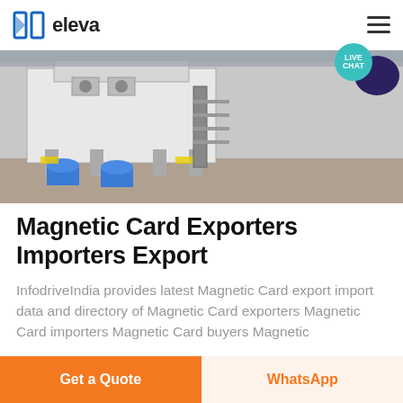eleva
[Figure (photo): Industrial machinery photo showing large white mechanical equipment with blue drums/barrels on a factory floor]
Magnetic Card Exporters Importers Export
InfodriveIndia provides latest Magnetic Card export import data and directory of Magnetic Card exporters Magnetic Card importers Magnetic Card buyers Magnetic
Get a Quote | WhatsApp